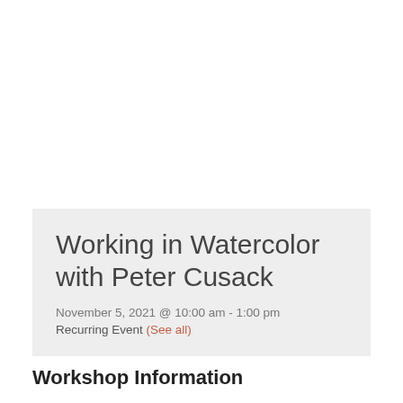Working in Watercolor with Peter Cusack
November 5, 2021 @ 10:00 am - 1:00 pm
Recurring Event (See all)
Workshop Information